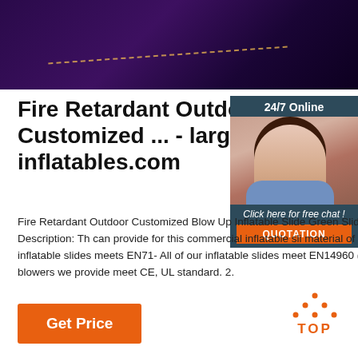[Figure (photo): Dark purple/violet background image, possibly a night sky or stage lighting scene with a dashed diagonal line]
Fire Retardant Outdoor Customized ... - large-inflatables.com
[Figure (other): 24/7 Online chat widget with a photo of a woman with headset, 'Click here for free chat!' text and orange QUOTATION button]
Fire Retardant Outdoor Customized Blow Up Inflatable Slide Green Slide . Description: Th can provide for this commercial inflatable sli material of our inflatable slides meets EN71- All of our inflatable slides meet EN14960 (20 All the blowers we provide meet CE, UL standard. 2.
[Figure (other): Orange Get Price button on the left, and an orange TOP logo (triangle with dots) on the right]